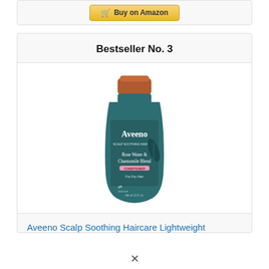[Figure (screenshot): Buy on Amazon button with cart icon, gold/yellow gradient button]
Bestseller No. 3
[Figure (photo): Aveeno Scalp Soothing Haircare product bottle - teal/dark green bottle with copper/bronze cap, Rose Water & Chamomile Blend Conditioner for Dry Hair]
Aveeno Scalp Soothing Haircare Lightweight